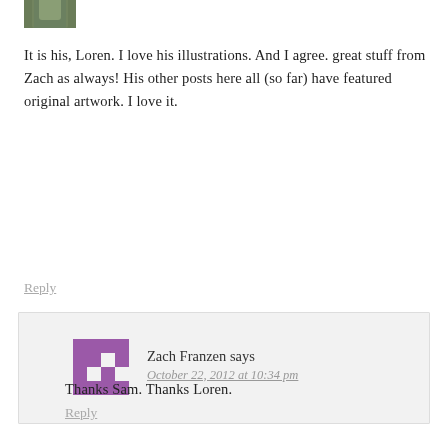[Figure (photo): Partial avatar image at top left, showing a person in a green/olive shirt, cropped]
It is his, Loren. I love his illustrations. And I agree. great stuff from Zach as always! His other posts here all (so far) have featured original artwork. I love it.
Reply
[Figure (logo): Purple pixel/puzzle piece avatar icon for Zach Franzen]
Zach Franzen says
October 22, 2012 at 10:34 pm
Thanks Sam. Thanks Loren.
Reply